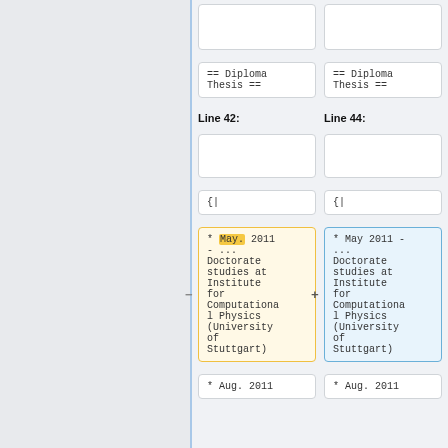== Diploma Thesis ==
== Diploma Thesis ==
Line 42:
Line 44:
{|
{|
* May. 2011 - ... Doctorate studies at Institute for Computational Physics (University of Stuttgart)
* May 2011 - ... Doctorate studies at Institute for Computational Physics (University of Stuttgart)
* Aug. 2011
* Aug. 2011